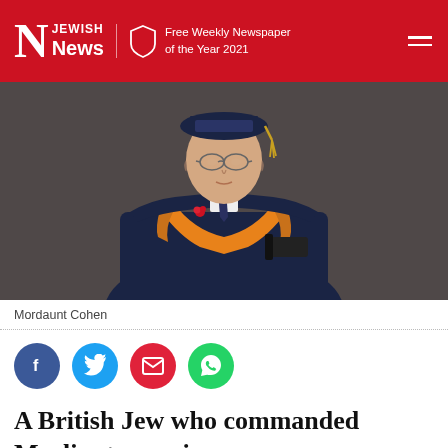Jewish News — Free Weekly Newspaper of the Year 2021
[Figure (photo): Elderly man wearing academic graduation robes in navy blue and orange/gold, with a matching navy mortarboard hat with gold tassel. He wears glasses, a tie, and holds a diploma scroll. A red flower boutonniere is on his lapel.]
Mordaunt Cohen
A British Jew who commanded Muslim troops in